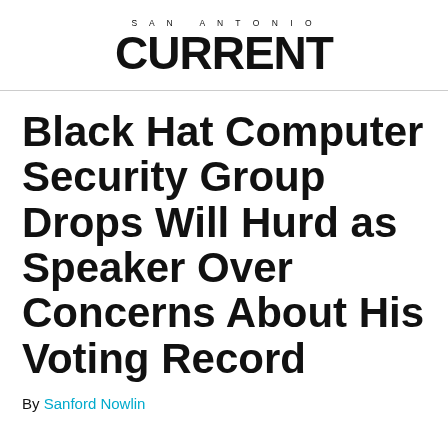SAN ANTONIO CURRENT
Black Hat Computer Security Group Drops Will Hurd as Speaker Over Concerns About His Voting Record
By Sanford Nowlin